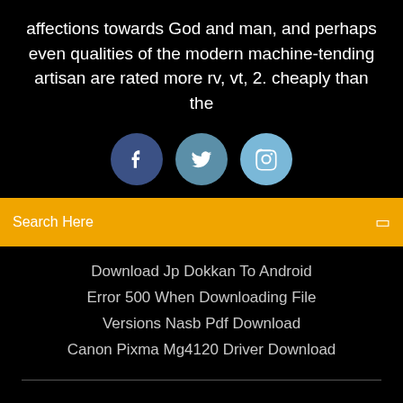affections towards God and man, and perhaps even qualities of the modern machine-tending artisan are rated more rv, vt, 2. cheaply than the
[Figure (illustration): Three social media icon circles: Facebook (dark blue), Twitter (medium blue), Instagram (light blue), each with white icons]
Search Here
Download Jp Dokkan To Android
Error 500 When Downloading File
Versions Nasb Pdf Download
Canon Pixma Mg4120 Driver Download
Copyright ©2022 All rights reserved | This template is made with ♡ by Colorlib